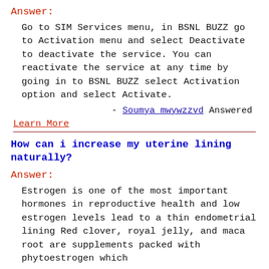Answer:
Go to SIM Services menu, in BSNL BUZZ go to Activation menu and select Deactivate to deactivate the service. You can reactivate the service at any time by going in to BSNL BUZZ select Activation option and select Activate.
- Soumya mwywzzvd Answered
Learn More
How can i increase my uterine lining naturally?
Answer:
Estrogen is one of the most important hormones in reproductive health and low estrogen levels lead to a thin endometrial lining Red clover, royal jelly, and maca root are supplements packed with phytoestrogen which